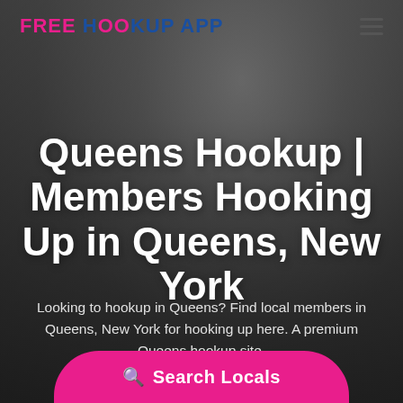FREE HOOKUP APP
[Figure (photo): Grayscale background photo of a couple in an intimate pose]
Queens Hookup | Members Hooking Up in Queens, New York
Looking to hookup in Queens? Find local members in Queens, New York for hooking up here. A premium Queens hookup site.
Search Locals